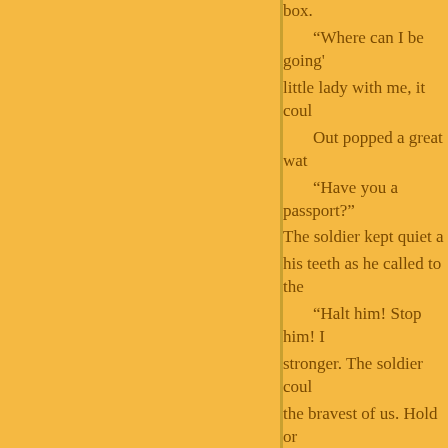box. "Where can I be going?" little lady with me, it could Out popped a great wat "Have you a passport?" The soldier kept quiet a his teeth as he called to the "Halt him! Stop him! stronger. The soldier could the bravest of us. Hold or dangerous to him as a wate He was so near it he co staunch as he could, and n It filled to the top - and v deeper, deeper, and the pap dancer whom he'd never se "Farewell, farewell, O w Nobody can from Deat And now the paper boa swallowed by a most enorm